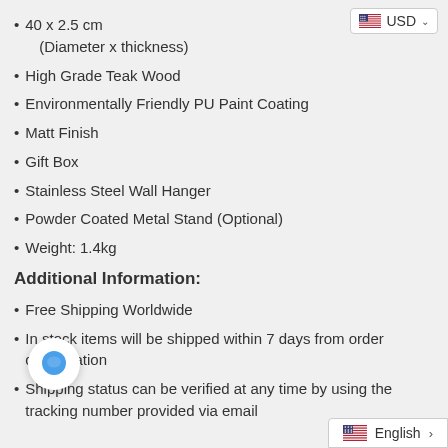[Figure (screenshot): USD currency selector button with US flag in top-right corner]
40 x 2.5 cm (Diameter x thickness)
High Grade Teak Wood
Environmentally Friendly PU Paint Coating
Matt Finish
Gift Box
Stainless Steel Wall Hanger
Powder Coated Metal Stand (Optional)
Weight: 1.4kg
Additional Information:
Free Shipping Worldwide
In stock items will be shipped within 7 days from order confirmation
Shipping status can be verified at any time by using the tracking number provided via email
[Figure (screenshot): Chat bubble icon overlay]
[Figure (screenshot): English language selector with US flag at bottom-right]